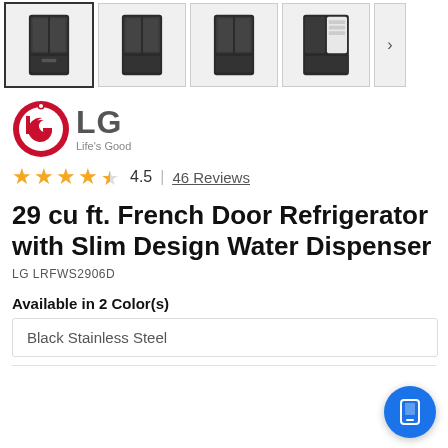[Figure (screenshot): Product thumbnail image strip showing 4 LG refrigerator photos with next arrow button]
[Figure (logo): LG logo - red circle with LG text, Life's Good tagline]
4.5 | 46 Reviews
29 cu ft. French Door Refrigerator with Slim Design Water Dispenser
LG LRFWS2906D
Available in 2 Color(s)
Black Stainless Steel